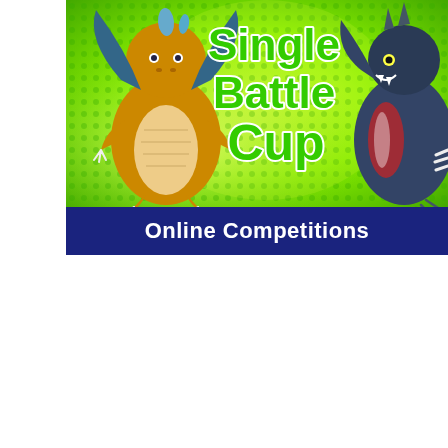[Figure (illustration): Single Battle Cup promotional banner for Pokemon Online Competitions. Green dotted background with Dragonite (orange dragon Pokemon) on the left and Garchomp (dark blue shark-like Pokemon) on the right. Large green text reads 'Single Battle Cup' in the center. A dark blue banner at the bottom reads 'Online Competitions' in white bold text.]